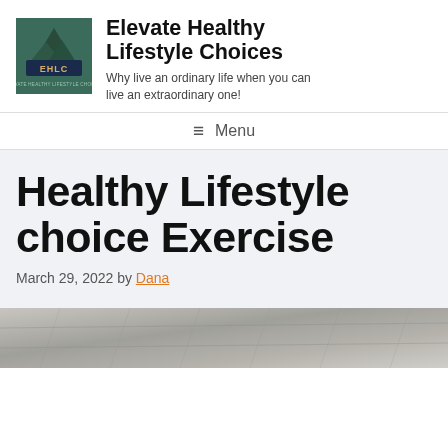[Figure (logo): Elevate Healthy Lifestyle Choices logo — dark green square with stylized mountain/tree graphic and EHLC lettering]
Elevate Healthy Lifestyle Choices
Why live an ordinary life when you can live an extraordinary one!
≡ Menu
Healthy Lifestyle choice Exercise
March 29, 2022 by Dana
[Figure (photo): Partial image of a tiled or stone floor surface visible at the bottom of the page]